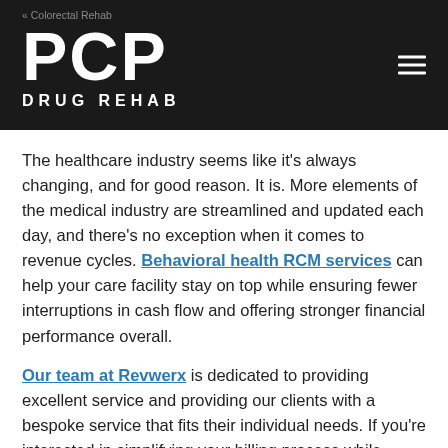PCP DRUG REHAB
The healthcare industry seems like it’s always changing, and for good reason. It is. More elements of the medical industry are streamlined and updated each day, and there’s no exception when it comes to revenue cycles. Behavioral health RCM services can help your care facility stay on top while ensuring fewer interruptions in cash flow and offering stronger financial performance overall.
Our team at Revwerx is dedicated to providing excellent service and providing our clients with a bespoke service that fits their individual needs. If you’re interested in simplifying your billing process while getting perfectly-tailored healthcare RCM services, contact RevWerx today